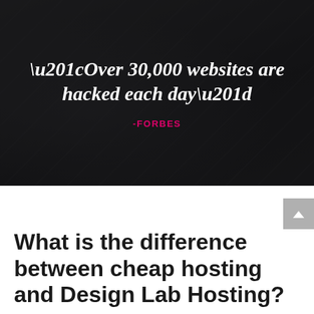[Figure (photo): Dark background hero image with semi-transparent overlay, showing blurred documents/papers in background]
“Over 30,000 websites are hacked each day”
-FORBES
What is the difference between cheap hosting and Design Lab Hosting?